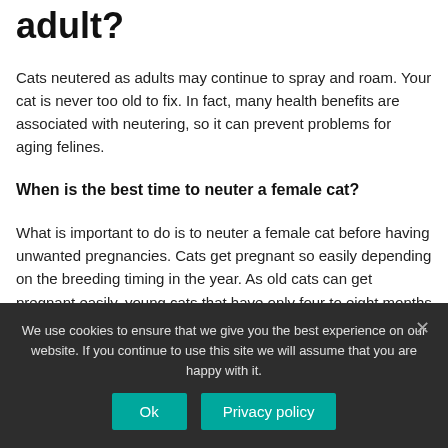adult?
Cats neutered as adults may continue to spray and roam. Your cat is never too old to fix. In fact, many health benefits are associated with neutering, so it can prevent problems for aging felines.
When is the best time to neuter a female cat?
What is important to do is to neuter a female cat before having unwanted pregnancies. Cats get pregnant so easily depending on the breeding timing in the year. As old cats can get pregnant easily, young cats that have only four to eight months
We use cookies to ensure that we give you the best experience on our website. If you continue to use this site we will assume that you are happy with it.